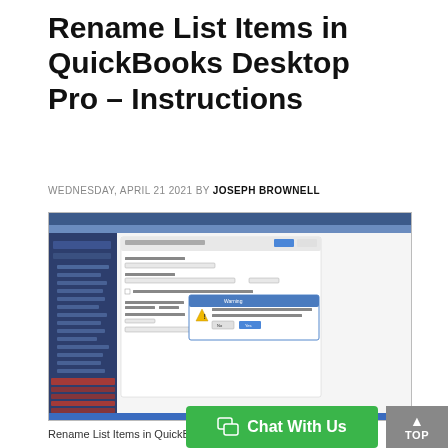Rename List Items in QuickBooks Desktop Pro – Instructions
WEDNESDAY, APRIL 21 2021 BY JOSEPH BROWNELL
[Figure (screenshot): Screenshot of QuickBooks Desktop Pro showing a list item rename dialog/warning dialog box over a product/service form, with the QuickBooks navigation panel visible on the left.]
Rename List Items in QuickB…